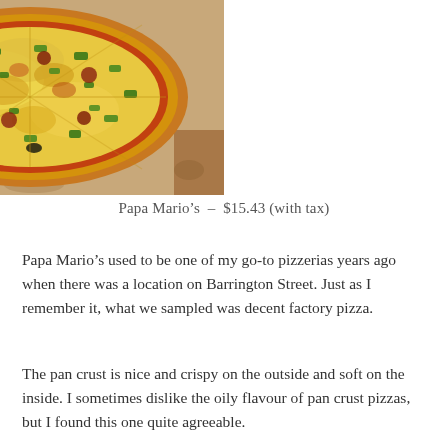[Figure (photo): A large round pizza with cheese, tomato sauce, green peppers, and other toppings, sitting in an open cardboard pizza box]
Papa Mario's – $15.43 (with tax)
Papa Mario's used to be one of my go-to pizzerias years ago when there was a location on Barrington Street. Just as I remember it, what we sampled was decent factory pizza.
The pan crust is nice and crispy on the outside and soft on the inside. I sometimes dislike the oily flavour of pan crust pizzas, but I found this one quite agreeable.